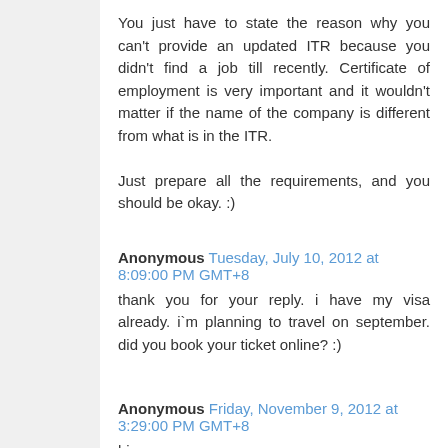You just have to state the reason why you can't provide an updated ITR because you didn't find a job till recently. Certificate of employment is very important and it wouldn't matter if the name of the company is different from what is in the ITR.

Just prepare all the requirements, and you should be okay. :)
Anonymous Tuesday, July 10, 2012 at 8:09:00 PM GMT+8
thank you for your reply. i have my visa already. i`m planning to travel on september. did you book your ticket online? :)
Anonymous Friday, November 9, 2012 at 3:29:00 PM GMT+8
hi
pwede makitanong?completo po yong req.